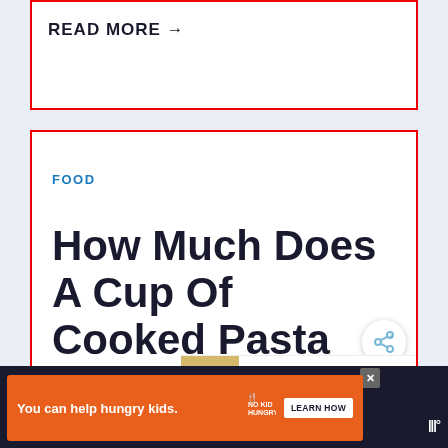READ MORE →
FOOD
How Much Does A Cup Of Cooked Pasta Weigh?
WHAT'S NEXT → What happens if you eat....
You can help hungry kids. NO KID HUNGRY LEARN HOW